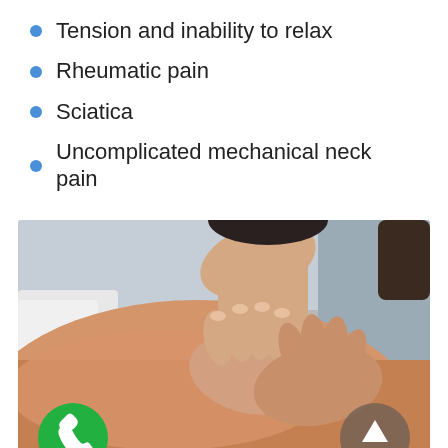Tension and inability to relax
Rheumatic pain
Sciatica
Uncomplicated mechanical neck pain
[Figure (photo): Close-up photo of a therapist performing a back massage on a patient lying face down on a massage table, with hands pressing into the patient's back. Green phone button and grey up-arrow button overlaid at bottom corners.]